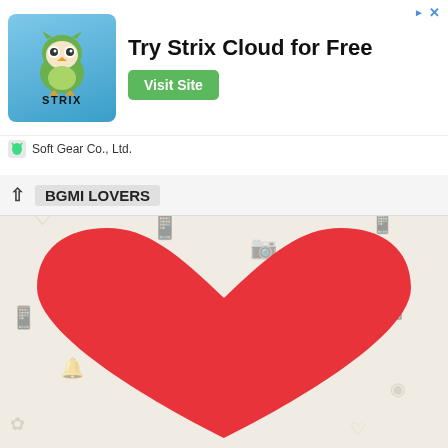[Figure (screenshot): Strix Cloud advertisement banner with owl logo, headline 'Try Strix Cloud for Free', green 'Visit Site' button, and 'Soft Gear Co., Ltd.' subtitle]
Try Strix Cloud for Free
Visit Site
Soft Gear Co., Ltd.
BGMI LOVERS
[Figure (illustration): Large red heart emoji/sticker on a WhatsApp-style chat background with light pattern]